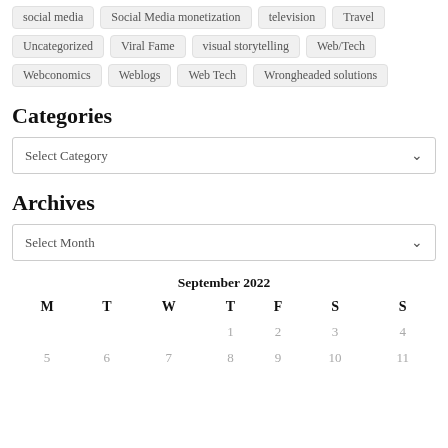social media
Social Media monetization
television
Travel
Uncategorized
Viral Fame
visual storytelling
Web/Tech
Webconomics
Weblogs
Web Tech
Wrongheaded solutions
Categories
Select Category
Archives
Select Month
| M | T | W | T | F | S | S |
| --- | --- | --- | --- | --- | --- | --- |
|  |  |  | 1 | 2 | 3 | 4 |
| 5 | 6 | 7 | 8 | 9 | 10 | 11 |